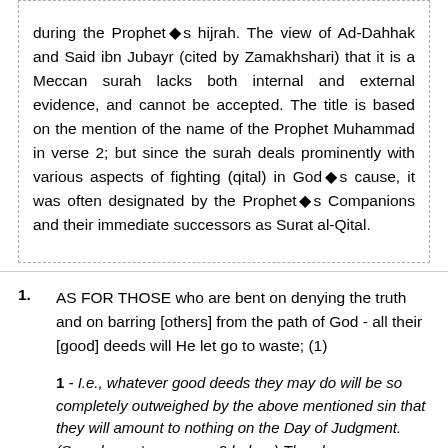during the Prophet●s hijrah. The view of Ad-Dahhak and Said ibn Jubayr (cited by Zamakhshari) that it is a Meccan surah lacks both internal and external evidence, and cannot be accepted. The title is based on the mention of the name of the Prophet Muhammad in verse 2; but since the surah deals prominently with various aspects of fighting (qital) in God●s cause, it was often designated by the Prophet●s Companions and their immediate successors as Surat al-Qital.
1. AS FOR THOSE who are bent on denying the truth and on barring [others] from the path of God - all their [good] deeds will He let go to waste; (1)
1 - I.e., whatever good deeds they may do will be so completely outweighed by the above mentioned sin that they will amount to nothing on the Day of Judgment. (See also note on verse 9 below.) The above verse connects with the last sentence of the preceding surah, ●Will, then, any be [really] destroyed save iniquitous folk?●
2. whereas those who have attained to faith and do